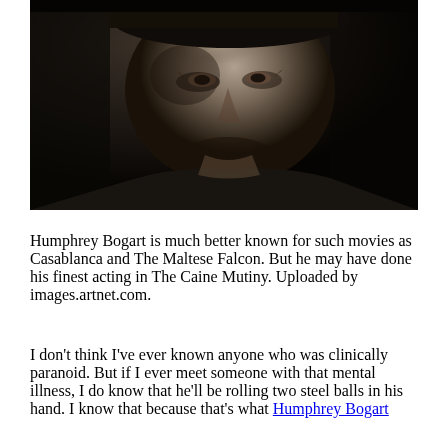[Figure (photo): Black and white close-up portrait photograph of Humphrey Bogart, showing his face and upper body in dramatic lighting.]
Humphrey Bogart is much better known for such movies as Casablanca and The Maltese Falcon. But he may have done his finest acting in The Caine Mutiny. Uploaded by images.artnet.com.
I don't think I've ever known anyone who was clinically paranoid. But if I ever meet someone with that mental illness, I do know that he'll be rolling two steel balls in his hand. I know that because that's what Humphrey Bogart